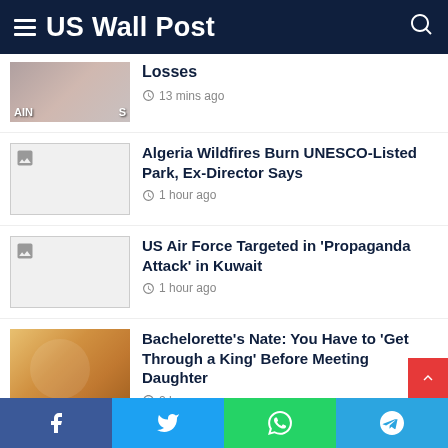US Wall Post
[Figure (photo): Partially visible thumbnail of a person (cropped at top)]
Losses
13 mins ago
[Figure (photo): Broken image placeholder thumbnail]
Algeria Wildfires Burn UNESCO-Listed Park, Ex-Director Says
1 hour ago
[Figure (photo): Broken image placeholder thumbnail]
US Air Force Targeted in 'Propaganda Attack' in Kuwait
1 hour ago
[Figure (photo): Photo of a couple at a restaurant]
Bachelorette's Nate: You Have to 'Get Through a King' Before Meeting Daughter
2 hours ago
Facebook Twitter WhatsApp Telegram